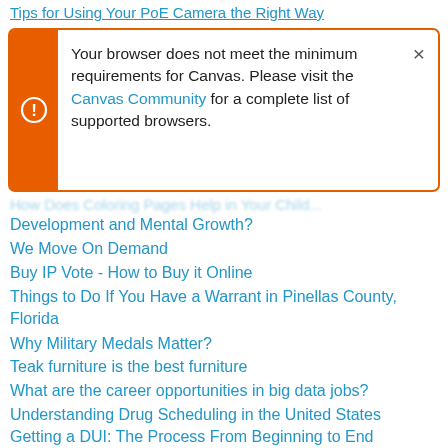Tips for Using Your PoE Camera the Right Way
[Figure (screenshot): Browser alert box with orange left border and warning icon. Text reads: 'Your browser does not meet the minimum requirements for Canvas. Please visit the Canvas Community for a complete list of supported browsers.' with an X close button.]
How Does Coloring Pages Help in Your Child Development and Mental Growth?
Development and Mental Growth?
We Move On Demand
Buy IP Vote - How to Buy it Online
Things to Do If You Have a Warrant in Pinellas County, Florida
Why Military Medals Matter?
Teak furniture is the best furniture
What are the career opportunities in big data jobs?
Understanding Drug Scheduling in the United States
Getting a DUI: The Process From Beginning to End
Who Are the Top San Francisco Movers and Shakers?
Difference between A Level and IB Economics Syllabus
Step by Step Guide to Choosing a Tampa Solar Power Company